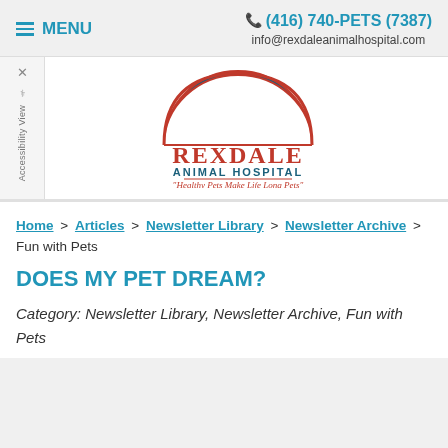≡ MENU   📞 (416) 740-PETS (7387)   info@rexdaleanimalhospital.com
[Figure (logo): Rexdale Animal Hospital logo: teal semicircle arch with white silhouettes of a dog, cat, and rabbit. Below arch: 'REXDALE' in large red serif letters, 'ANIMAL HOSPITAL' in teal letters, underline, and tagline in red italic script: "Healthy Pets Make Life Long Pets"]
Home > Articles > Newsletter Library > Newsletter Archive > Fun with Pets
DOES MY PET DREAM?
Category: Newsletter Library, Newsletter Archive, Fun with Pets